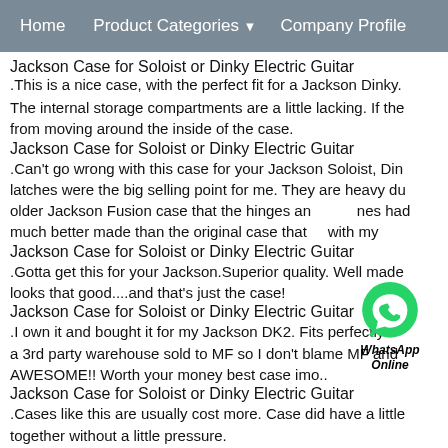Home   Product Categories ▼   Company Profile
Jackson Case for Soloist or Dinky Electric Guitar
.This is a nice case, with the perfect fit for a Jackson Dinky.
The internal storage compartments are a little lacking. If the from moving around the inside of the case.
Jackson Case for Soloist or Dinky Electric Guitar
.Can't go wrong with this case for your Jackson Soloist, Din latches were the big selling point for me. They are heavy du older Jackson Fusion case that the hinges an es had much better made than the original case that with my
Jackson Case for Soloist or Dinky Electric Guitar
.Gotta get this for your Jackson.Superior quality. Well made looks that good....and that's just the case!
Jackson Case for Soloist or Dinky Electric Guitar
.I own it and bought it for my Jackson DK2. Fits perfectly. F a 3rd party warehouse sold to MF so I don't blame MF and AWESOME!! Worth your money best case imo..
Jackson Case for Soloist or Dinky Electric Guitar
.Cases like this are usually cost more. Case did have a little together without a little pressure.
Jackson Case for Soloist or Dinky Electric Guitar
.
[Figure (logo): WhatsApp Online green circle logo with chat bubble and label WhatsApp Online]